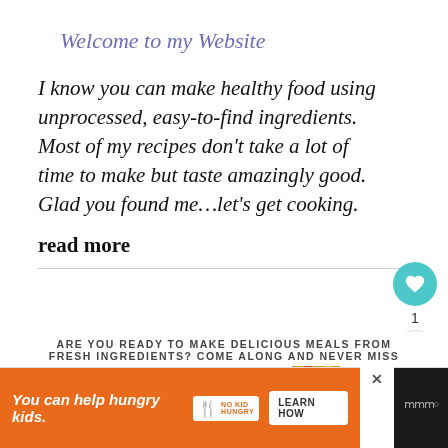Welcome to my Website
I know you can make healthy food using unprocessed, easy-to-find ingredients. Most of my recipes don't take a lot of time to make but taste amazingly good. Glad you found me…let's get cooking.
read more
ARE YOU READY TO MAKE DELICIOUS MEALS FROM FRESH INGREDIENTS? COME ALONG AND NEVER MISS
You can help hungry kids.  NO KID HUNGRY  LEARN HOW